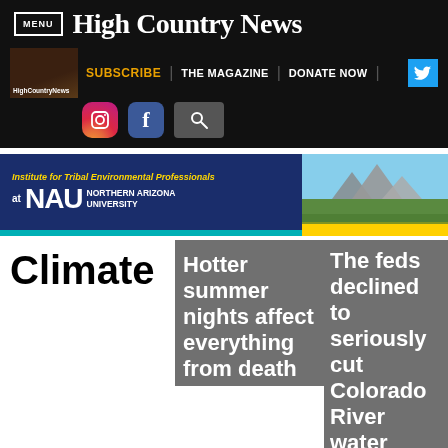MENU | High Country News
SUBSCRIBE | THE MAGAZINE | DONATE NOW
[Figure (screenshot): Navigation header with Instagram, Facebook, and search icons]
[Figure (illustration): Advertisement banner for Institute for Tribal Environmental Professionals at NAU Northern Arizona University with mountain landscape photo]
Climate
Hotter summer nights affect everything from death
The feds declined to seriously cut Colorado River water
How a hidden cave can
from death
water